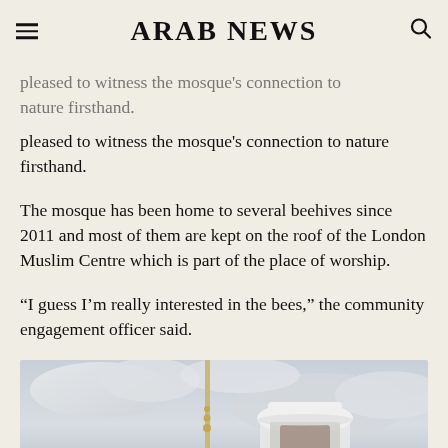ARAB NEWS
pleased to witness the mosque's connection to nature firsthand.
The mosque has been home to several beehives since 2011 and most of them are kept on the roof of the London Muslim Centre which is part of the place of worship.
“I guess I’m really interested in the bees,” the community engagement officer said.
[Figure (photo): Person wearing a white beekeeper hat and mesh veil, with a mosque minaret and crescent moon visible in the background against a cloudy sky.]